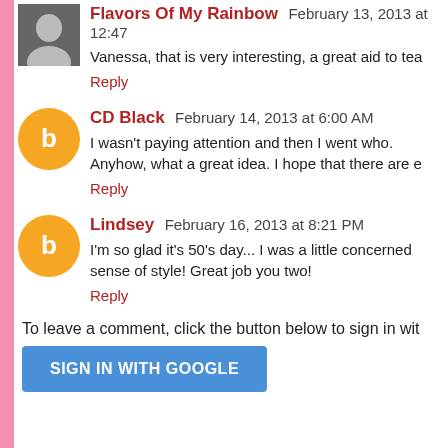Flavors Of My Rainbow February 13, 2013 at 12:47
Vanessa, that is very interesting, a great aid to tea
Reply
CD Black February 14, 2013 at 6:00 AM
I wasn't paying attention and then I went who. Anyhow, what a great idea. I hope that there are e
Reply
Lindsey February 16, 2013 at 8:21 PM
I'm so glad it's 50's day... I was a little concerned sense of style! Great job you two!
Reply
To leave a comment, click the button below to sign in wit
SIGN IN WITH GOOGLE